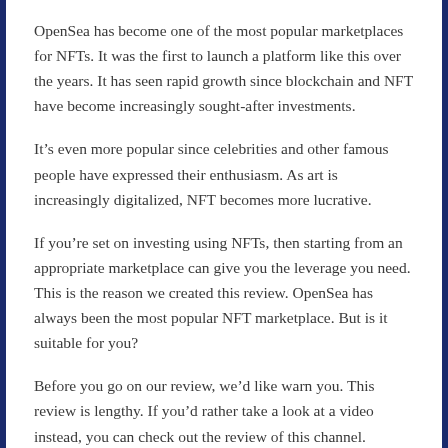OpenSea has become one of the most popular marketplaces for NFTs. It was the first to launch a platform like this over the years. It has seen rapid growth since blockchain and NFT have become increasingly sought-after investments.
It’s even more popular since celebrities and other famous people have expressed their enthusiasm. As art is increasingly digitalized, NFT becomes more lucrative.
If you’re set on investing using NFTs, then starting from an appropriate marketplace can give you the leverage you need. This is the reason we created this review. OpenSea has always been the most popular NFT marketplace. But is it suitable for you?
Before you go on our review, we’d like warn you. This review is lengthy. If you’d rather take a look at a video instead, you can check out the review of this channel. They’ll walk users…